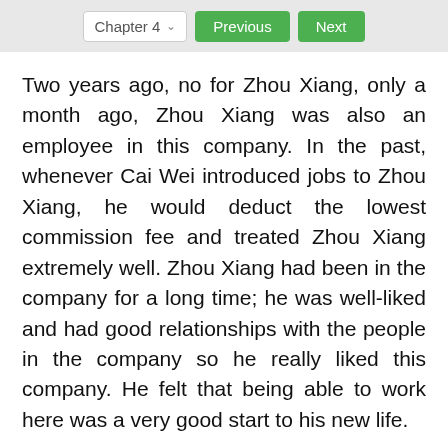Chapter 4  Previous  Next
Two years ago, no for Zhou Xiang, only a month ago, Zhou Xiang was also an employee in this company. In the past, whenever Cai Wei introduced jobs to Zhou Xiang, he would deduct the lowest commission fee and treated Zhou Xiang extremely well. Zhou Xiang had been in the company for a long time; he was well-liked and had good relationships with the people in the company so he really liked this company. He felt that being able to work here was a very good start to his new life.
Zhou Xiang came across a few of his old colleagues inside the building. He resisted the urge to greet them. In these people's eyes, he was a complete stranger.